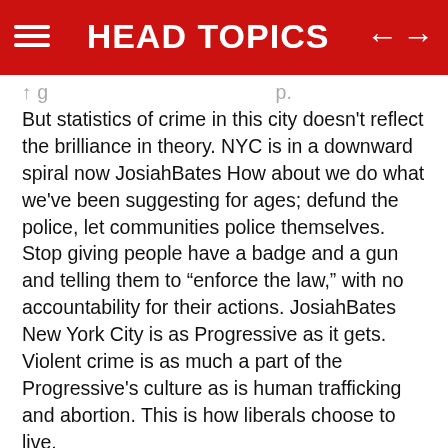HEAD TOPICS
But statistics of crime in this city doesn't reflect the brilliance in theory. NYC is in a downward spiral now JosiahBates How about we do what we've been suggesting for ages; defund the police, let communities police themselves. Stop giving people have a badge and a gun and telling them to “enforce the law,” with no accountability for their actions. JosiahBates New York City is as Progressive as it gets. Violent crime is as much a part of the Progressive's culture as is human trafficking and abortion. This is how liberals choose to live.